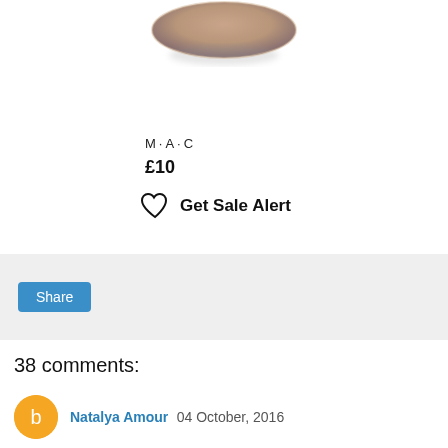[Figure (photo): Partial view of a MAC cosmetics product (appears to be a powder compact or similar round product) photographed from above against white background, partially cropped at top]
M·A·C
£10
Get Sale Alert
Share
38 comments:
Natalya Amour 04 October, 2016